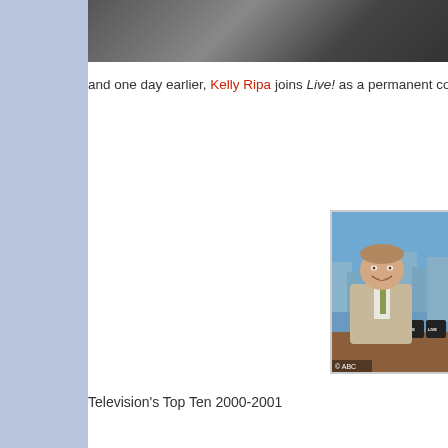[Figure (photo): Dark/grayscale photo strip at top of page, partially visible]
and one day earlier, Kelly Ripa joins Live! as a permanent co-h...
[Figure (photo): Photo of a smiling man in a tan/beige suit sitting at a desk with LIVE mugs visible, ABC copyright watermark at bottom]
Television's Top Ten 2000-2001